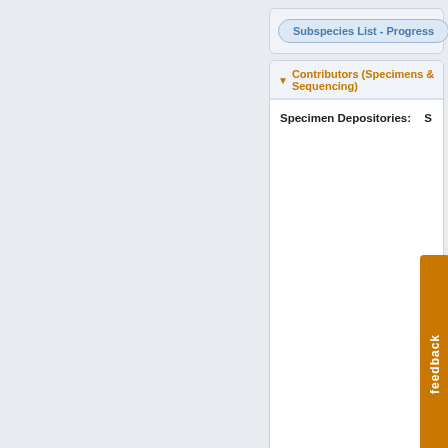Subspecies List - Progress
Contributors (Specimens & Sequencing)
Specimen Depositories:
Imagery
images representing specimens of Ida
[Figure (photo): Three butterfly specimen photos showing orange/amber colored moths/butterflies pinned for collection display]
feedback